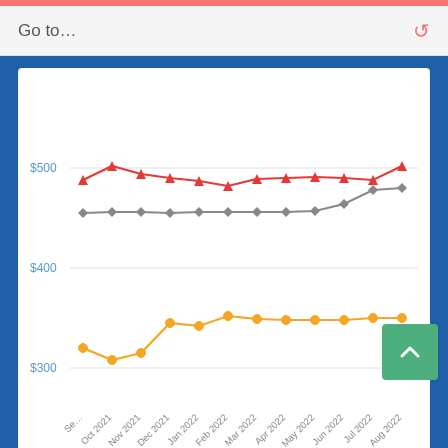Go to…
[Figure (line-chart): Rent by bedroom count over time]